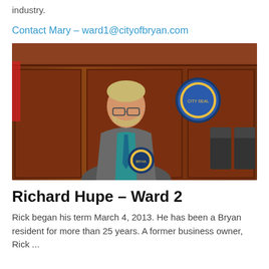industry.
Contact Mary – ward1@cityofbryan.com
[Figure (photo): Man in gray suit and teal shirt standing in a council chamber holding a city seal plaque, with wooden paneling and an official city seal mounted on the wall behind him.]
Richard Hupe – Ward 2
Rick began his term March 4, 2013. He has been a Bryan resident for more than 25 years. A former business owner, Rick ...